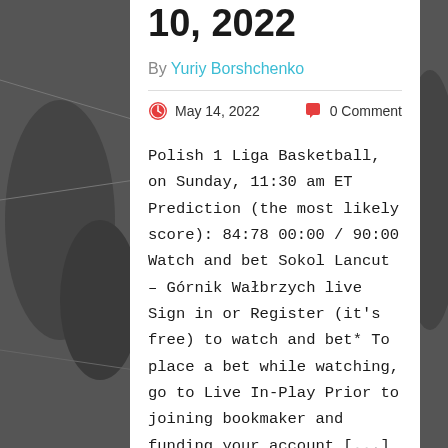10, 2022
By Yuriy Borshchenko
May 14, 2022   0 Comment
Polish 1 Liga Basketball, on Sunday, 11:30 am ET Prediction (the most likely score): 84:78 00:00 / 90:00 Watch and bet Sokol Lancut – Górnik Wałbrzych live Sign in or Register (it's free) to watch and bet* To place a bet while watching, go to Live In-Play Prior to joining bookmaker and funding your account [...]